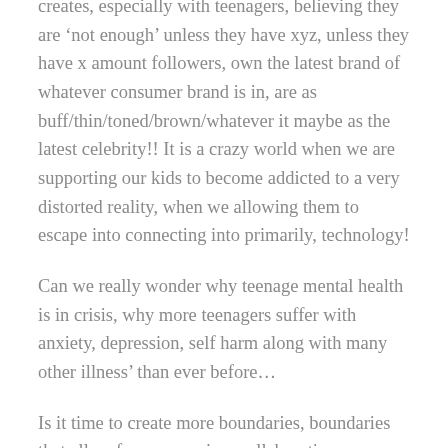creates, especially with teenagers, believing they are 'not enough' unless they have xyz, unless they have x amount followers, own the latest brand of whatever consumer brand is in, are as buff/thin/toned/brown/whatever it maybe as the latest celebrity!! It is a crazy world when we are supporting our kids to become addicted to a very distorted reality, when we allowing them to escape into connecting into primarily, technology!
Can we really wonder why teenage mental health is in crisis, why more teenagers suffer with anxiety, depression, self harm along with many other illness' than ever before…
Is it time to create more boundaries, boundaries that allow for compassion, collaboration, creativity, and